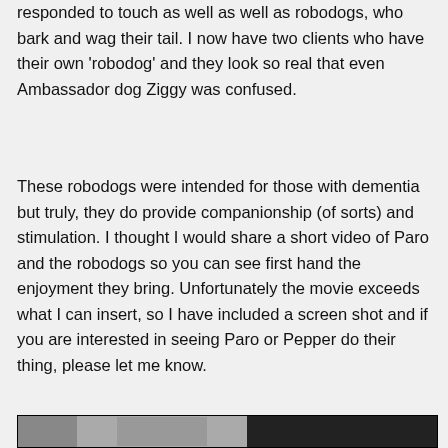responded to touch as well as well as robodogs, who bark and wag their tail. I now have two clients who have their own 'robodog' and they look so real that even Ambassador dog Ziggy was confused.
These robodogs were intended for those with dementia but truly, they do provide companionship (of sorts) and stimulation. I thought I would share a short video of Paro and the robodogs so you can see first hand the enjoyment they bring. Unfortunately the movie exceeds what I can insert, so I have included a screen shot and if you are interested in seeing Paro or Pepper do their thing, please let me know.
[Figure (screenshot): A screenshot or video still image showing Paro and robodogs, partially visible at the bottom of the page. Dark background with a figure visible in the center.]